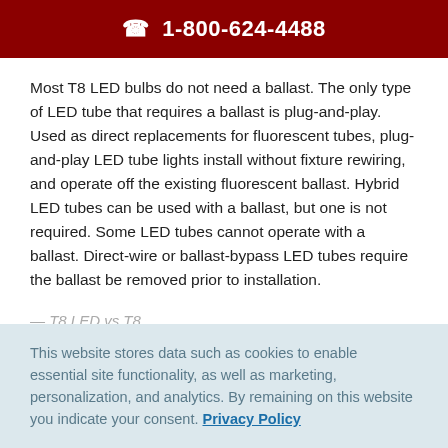☎ 1-800-624-4488
Most T8 LED bulbs do not need a ballast. The only type of LED tube that requires a ballast is plug-and-play. Used as direct replacements for fluorescent tubes, plug-and-play LED tube lights install without fixture rewiring, and operate off the existing fluorescent ballast. Hybrid LED tubes can be used with a ballast, but one is not required. Some LED tubes cannot operate with a ballast. Direct-wire or ballast-bypass LED tubes require the ballast be removed prior to installation.
This website stores data such as cookies to enable essential site functionality, as well as marketing, personalization, and analytics. By remaining on this website you indicate your consent. Privacy Policy